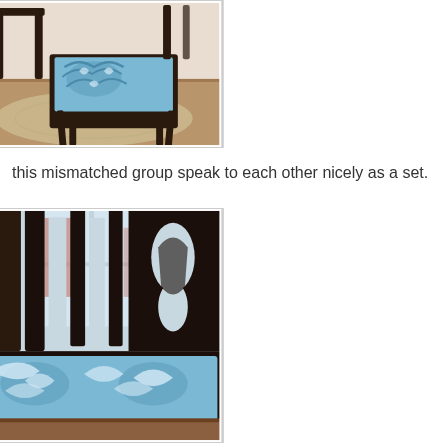[Figure (photo): Overhead/angled view of dark wood dining chairs with blue and white patterned fabric seat cushions on a wooden floor with a rug visible underneath.]
this mismatched group speak to each other nicely as a set.
[Figure (photo): Close-up view of dark wood chair backs and seat cushions upholstered in blue and white patterned fabric, with a window visible in the background.]